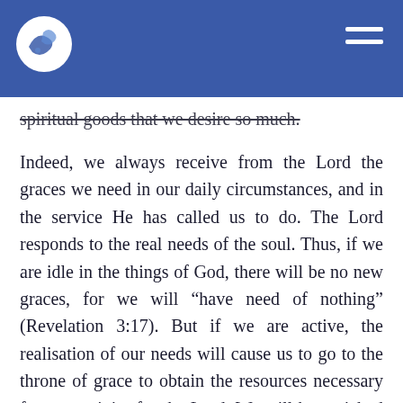spiritual goods that we desire so much.
Indeed, we always receive from the Lord the graces we need in our daily circumstances, and in the service He has called us to do. The Lord responds to the real needs of the soul. Thus, if we are idle in the things of God, there will be no new graces, for we will “have need of nothing” (Revelation 3:17). But if we are active, the realisation of our needs will cause us to go to the throne of grace to obtain the resources necessary for our activity for the Lord. We will be enriched and grow spiritually.
In short, we will not grow spiritually and enjoy the spiritual blessings we have in Christ by running home every day. Rather, we will find ourselves with empty hands before God, or with very little, and let us not